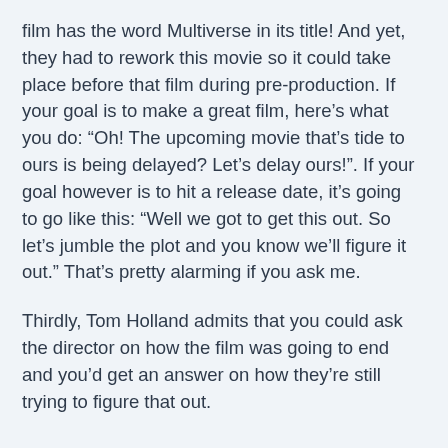film has the word Multiverse in its title! And yet, they had to rework this movie so it could take place before that film during pre-production. If your goal is to make a great film, here's what you do: “Oh! The upcoming movie that’s tide to ours is being delayed? Let’s delay ours!”. If your goal however is to hit a release date, it’s going to go like this: “Well we got to get this out. So let’s jumble the plot and you know we’ll figure it out.” That’s pretty alarming if you ask me.
Thirdly, Tom Holland admits that you could ask the director on how the film was going to end and you’d get an answer on how they’re still trying to figure that out.